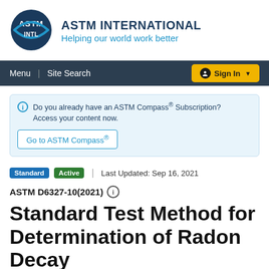[Figure (logo): ASTM International logo with globe and swoosh, blue tones]
ASTM INTERNATIONAL
Helping our world work better
Menu | Site Search | Sign In
Do you already have an ASTM Compass® Subscription? Access your content now. Go to ASTM Compass®
Standard  Active  |  Last Updated: Sep 16, 2021
ASTM D6327-10(2021) ℹ
Standard Test Method for Determination of Radon Decay Product Concentration...